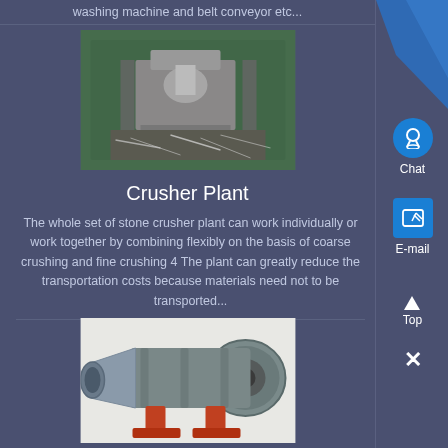washing machine and belt conveyor etc...
[Figure (photo): Industrial stone crusher machine with metal shavings and machinery parts on a green surface]
Crusher Plant
The whole set of stone crusher plant can work individually or work together by combining flexibly on the basis of coarse crushing and fine crushing 4 The plant can greatly reduce the transportation costs because materials need not to be transported...
[Figure (photo): Large industrial rotary drum machine (rotary dryer or similar) mounted on red/orange supports]